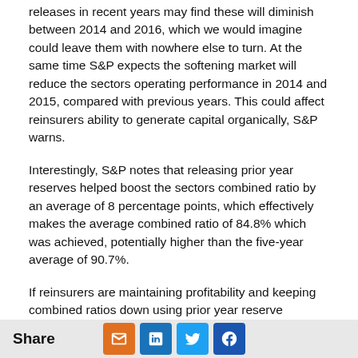releases in recent years may find these will diminish between 2014 and 2016, which we would imagine could leave them with nowhere else to turn. At the same time S&P expects the softening market will reduce the sectors operating performance in 2014 and 2015, compared with previous years. This could affect reinsurers ability to generate capital organically, S&P warns.
Interestingly, S&P notes that releasing prior year reserves helped boost the sectors combined ratio by an average of 8 percentage points, which effectively makes the average combined ratio of 84.8% which was achieved, potentially higher than the five-year average of 90.7%.
If reinsurers are maintaining profitability and keeping combined ratios down using prior year reserve releases, what happens when these releases run out? With softening continuing, competition seemingly increasing and interest from the capital markets not going away reinsurers may be heading for a very difficult period.
Share